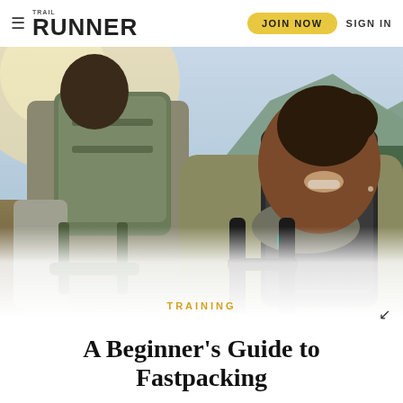≡ TRAIL RUNNER | JOIN NOW  SIGN IN
[Figure (photo): Two hikers with large backpacks on a mountain trail. A smiling woman in the foreground wearing an olive green shirt and black backpack, man behind her in grey shirt with large green pack. Mountain landscape with trees and sky in background.]
TRAINING
A Beginner's Guide to Fastpacking